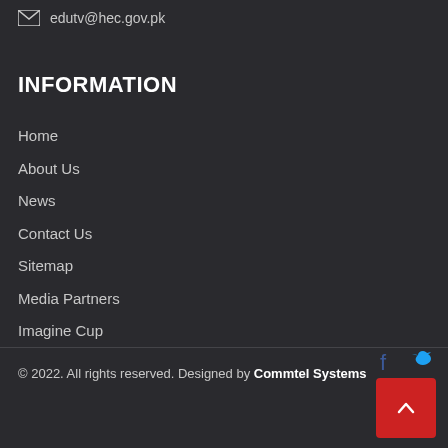edutv@hec.gov.pk
INFORMATION
Home
About Us
News
Contact Us
Sitemap
Media Partners
Imagine Cup
© 2022. All rights reserved. Designed by Commtel Systems